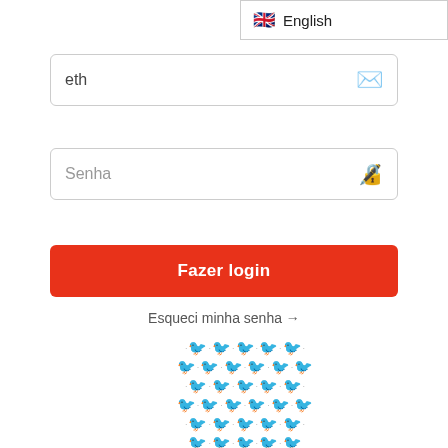[Figure (screenshot): Language selector dropdown showing English with UK flag icon, positioned top right]
[Figure (screenshot): Email input box with text 'eth' and envelope icon on right]
[Figure (screenshot): Password input box labeled 'Senha' with masked password icon on right]
[Figure (screenshot): Red login button labeled 'Fazer login']
Esqueci minha senha →
[Figure (logo): Grid/pattern of red bird/arrow logos arranged in rows with dots between them]
[Figure (screenshot): Android navigation bar with back, home, and recent apps buttons on black background]
Features of Pickshop Apk Download
View a number of films and television shows